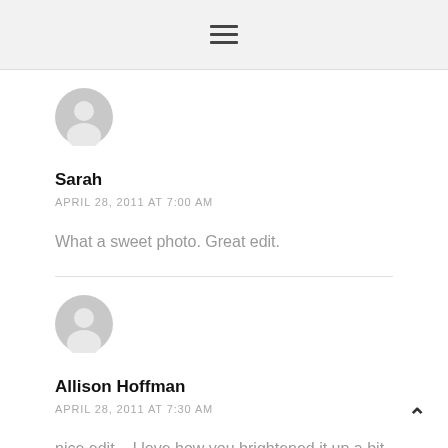☰ (hamburger menu icon)
[Figure (illustration): Gray default user avatar icon for Sarah]
Sarah
APRIL 28, 2011 AT 7:00 AM
What a sweet photo. Great edit.
[Figure (illustration): Gray default user avatar icon for Allison Hoffman]
Allison Hoffman
APRIL 28, 2011 AT 7:30 AM
nice edit – I love how you brightened it up a bit